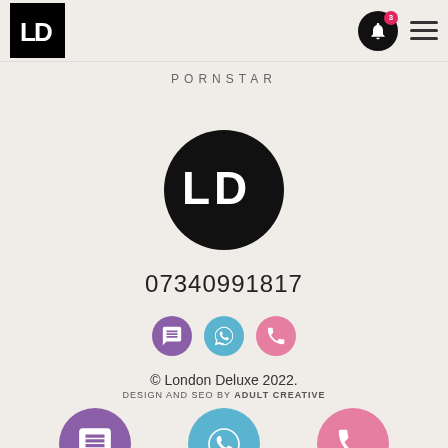[Figure (logo): London Deluxe LD logo in white on black square background]
[Figure (other): Bell notification icon with badge showing 3 and hamburger menu icon]
PORNSTAR
[Figure (logo): London Deluxe LD logo in white on black circular background, centered]
07340991817
[Figure (other): Three circular icon buttons: SMS (purple), WhatsApp (light blue), Call (pink)]
© London Deluxe 2022.
DESIGN AND SEO BY ADULT CREATIVE
[Figure (other): Three large circular icon buttons at bottom: SMS (purple), WhatsApp (light blue), Call (pink)]